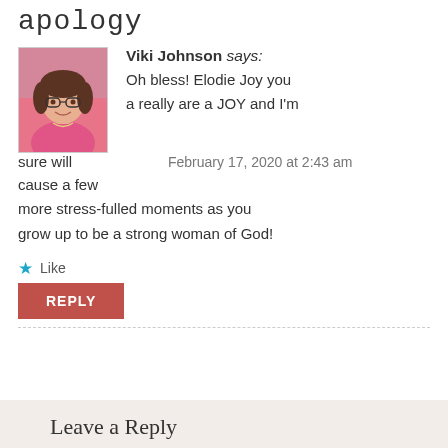apology
Viki Johnson says:
Oh bless! Elodie Joy you a really are a JOY and I'm sure will cause a few more stress-fulled moments as you grow up to be a strong woman of God!
February 17, 2020 at 2:43 am
Like
REPLY
Leave a Reply